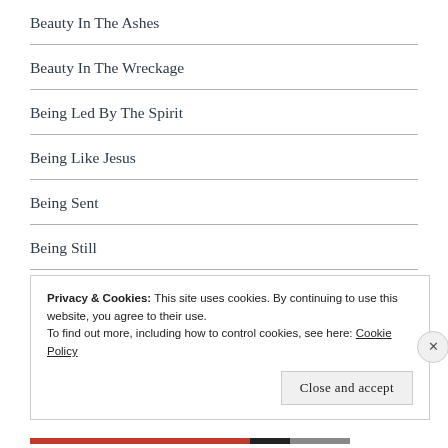Beauty In The Ashes
Beauty In The Wreckage
Being Led By The Spirit
Being Like Jesus
Being Sent
Being Still
Being Stuck
Belong
Betrayal
Privacy & Cookies: This site uses cookies. By continuing to use this website, you agree to their use.
To find out more, including how to control cookies, see here: Cookie Policy
Close and accept